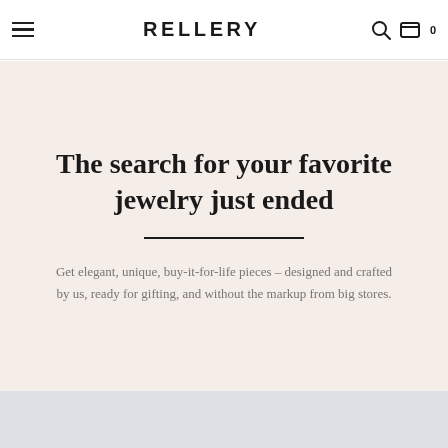RELLERY
The search for your favorite jewelry just ended
Get elegant, unique, buy-it-for-life pieces – designed and crafted by us, ready for gifting, and without the markup from big stores.